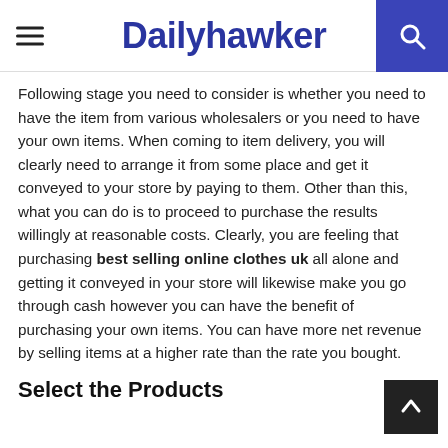Dailyhawker
Following stage you need to consider is whether you need to have the item from various wholesalers or you need to have your own items. When coming to item delivery, you will clearly need to arrange it from some place and get it conveyed to your store by paying to them. Other than this, what you can do is to proceed to purchase the results willingly at reasonable costs. Clearly, you are feeling that purchasing best selling online clothes uk all alone and getting it conveyed in your store will likewise make you go through cash however you can have the benefit of purchasing your own items. You can have more net revenue by selling items at a higher rate than the rate you bought.
Select the Products